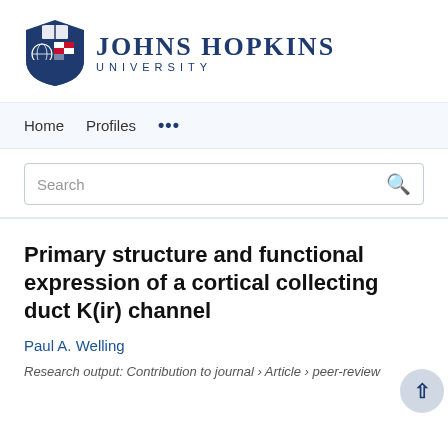[Figure (logo): Johns Hopkins University shield logo and wordmark]
Home   Profiles   ...
Search
Primary structure and functional expression of a cortical collecting duct K(ir) channel
Paul A. Welling
Research output: Contribution to journal › Article › peer-review